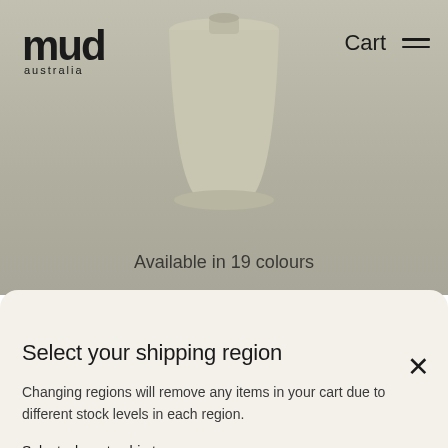[Figure (screenshot): Website header with Mud Australia logo on the left, Cart and hamburger menu on the right, and a beige ceramic lamp pendant photo in the background]
Available in 19 colours
Select your shipping region
Changing regions will remove any items in your cart due to different stock levels in each region.
Select where to ship to
Select Region
Continue